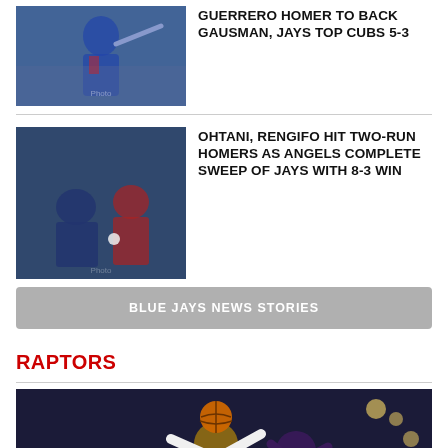[Figure (photo): Baseball player in blue Toronto Blue Jays uniform swinging bat]
GUERRERO HOMER TO BACK GAUSMAN, JAYS TOP CUBS 5-3
[Figure (photo): Baseball action shot with player sliding into base, Blue Jays vs Angels]
OHTANI, RENGIFO HIT TWO-RUN HOMERS AS ANGELS COMPLETE SWEEP OF JAYS WITH 8-3 WIN
BLUE JAYS NEWS STORIES
RAPTORS
[Figure (photo): Basketball player in Kings uniform holding ball above head, defended by Raptors player]